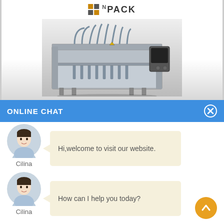[Figure (logo): N:PACK company logo with orange and grey squares grid and bold text]
[Figure (photo): Industrial liquid filling machine with multiple nozzles and stainless steel frame, grey background gradient]
ONLINE CHAT
[Figure (photo): Avatar photo of Cilina, a female customer service representative in light blue shirt]
Hi,welcome to visit our website.
Cilina
[Figure (photo): Avatar photo of Cilina, a female customer service representative in light blue shirt]
How can I help you today?
Cilina